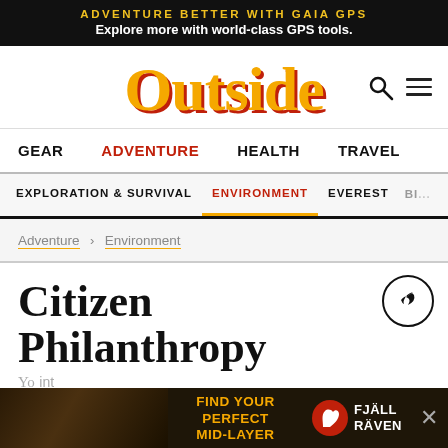ADVENTURE BETTER WITH GAIA GPS
Explore more with world-class GPS tools.
[Figure (logo): Outside magazine logo in gold/orange with red shadow, serif font]
GEAR  ADVENTURE  HEALTH  TRAVEL
EXPLORATION & SURVIVAL  ENVIRONMENT  EVEREST  BI...
Adventure > Environment
Citizen Philanthropy
[Figure (screenshot): Bottom ad banner: FIND YOUR PERFECT MID-LAYER with Fjall Raven logo]